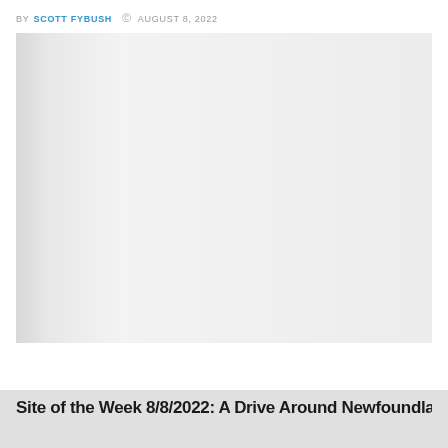BY SCOTT FYBUSH  © AUGUST 8, 2022
[Figure (photo): A light gray/white image, largely blank or washed out, with a gradient effect from darker gray on the left edge to lighter in the center and right.]
Site of the Week 8/8/2022: A Drive Around Newfoundland